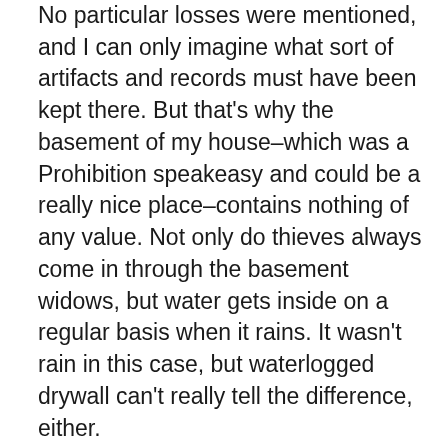No particular losses were mentioned, and I can only imagine what sort of artifacts and records must have been kept there. But that's why the basement of my house–which was a Prohibition speakeasy and could be a really nice place–contains nothing of any value. Not only do thieves always come in through the basement widows, but water gets inside on a regular basis when it rains. It wasn't rain in this case, but waterlogged drywall can't really tell the difference, either.
The fool who committed this theft may have a hand in several other thefts in the South Bend area. It certainly stands to reason that if you know what you're looking for, stealing one of these things isn't terribly difficult. In the wake of these thefts, most likely, the insurance pays what they pay, the property owner pays the deductible, and